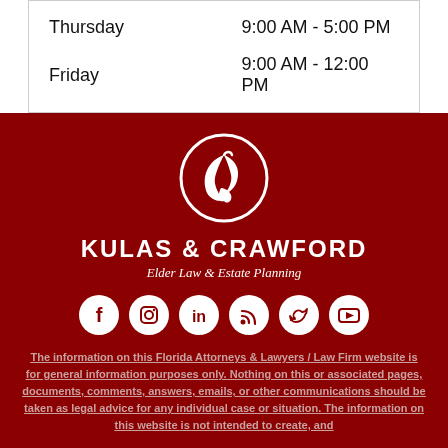| Day | Hours |
| --- | --- |
| Thursday | 9:00 AM - 5:00 PM |
| Friday | 9:00 AM - 12:00 PM |
[Figure (logo): Kulas & Crawford circular leaf logo in white on dark red background]
KULAS & CRAWFORD
Elder Law & Estate Planning
[Figure (infographic): Row of 6 social media icons: Facebook, Instagram, LinkedIn, RSS, Twitter, YouTube]
The information on this Florida Attorneys & Lawyers / Law Firm website is for general information purposes only. Nothing on this or associated pages, documents, comments, answers, emails, or other communications should be taken as legal advice for any individual case or situation. The information on this website is not intended to create, and